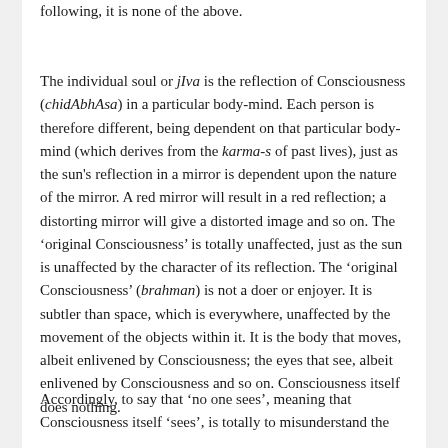following, it is none of the above.
The individual soul or jIva is the reflection of Consciousness (chidAbhAsa) in a particular body-mind. Each person is therefore different, being dependent on that particular body-mind (which derives from the karma-s of past lives), just as the sun's reflection in a mirror is dependent upon the nature of the mirror. A red mirror will result in a red reflection; a distorting mirror will give a distorted image and so on. The ‘original Consciousness’ is totally unaffected, just as the sun is unaffected by the character of its reflection. The ‘original Consciousness’ (brahman) is not a doer or enjoyer. It is subtler than space, which is everywhere, unaffected by the movement of the objects within it. It is the body that moves, albeit enlivened by Consciousness; the eyes that see, albeit enlivened by Consciousness and so on. Consciousness itself does nothing.
Accordingly, to say that ‘no one sees’, meaning that Consciousness itself ‘sees’, is totally to misunderstand the teaching of Advaita...